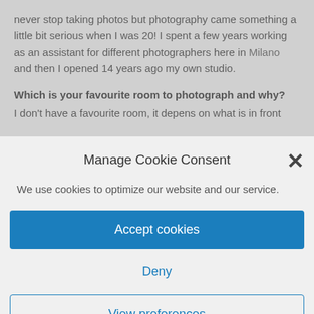never stop taking photos but photography came something a little bit serious when I was 20! I spent a few years working as an assistant for different photographers here in Milano and then I opened 14 years ago my own studio.
Which is your favourite room to photograph and why?
I don't have a favourite room, it depens on what is in front
Manage Cookie Consent
We use cookies to optimize our website and our service.
Accept cookies
Deny
View preferences